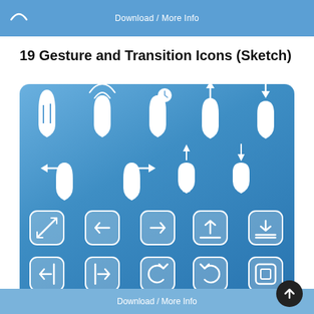Download / More Info
19 Gesture and Transition Icons (Sketch)
[Figure (illustration): A blue gradient rounded rectangle panel containing 4 rows of white gesture and transition icons. Row 1: 5 hand/finger gesture icons (tap, multi-tap, tap with clock, swipe up, swipe down). Row 2: 4 hand/finger gesture icons (swipe left, swipe right, pinch out, pinch in). Row 3: 5 rounded square transition icons (resize diagonal, arrow left, arrow right, upload, download). Row 4: 5 rounded square transition icons (arrow left with line, arrow right with line, undo, redo, square in square).]
Download / More Info